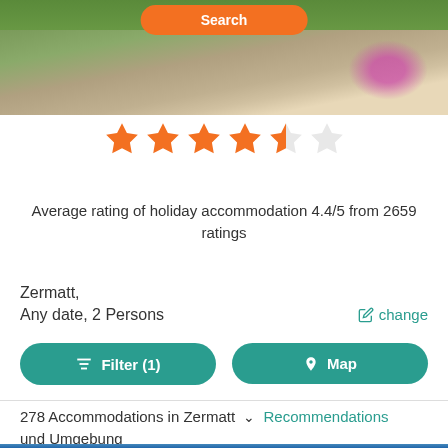[Figure (screenshot): Top banner with outdoor/nature scene (rocks, greenery, pink flowers) and orange Search button at top]
[Figure (infographic): 4.5 star rating displayed as orange stars (4 full, 1 half, 1 empty outline)]
Average rating of holiday accommodation 4.4/5 from 2659 ratings
Zermatt,
Any date, 2 Persons
change
Filter (1)
Map
278 Accommodations in Zermatt  Recommendations und Umgebung
[Figure (photo): Bottom partial photo showing a building against blue sky]